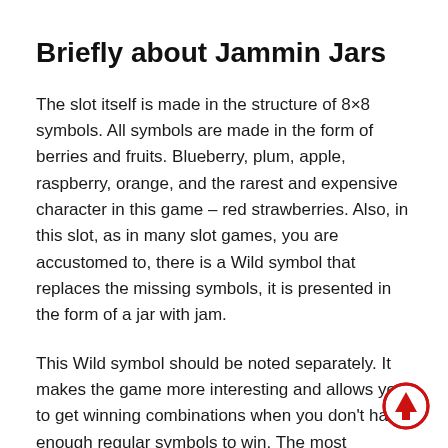Briefly about Jammin Jars
The slot itself is made in the structure of 8×8 symbols. All symbols are made in the form of berries and fruits. Blueberry, plum, apple, raspberry, orange, and the rarest and expensive character in this game – red strawberries. Also, in this slot, as in many slot games, you are accustomed to, there is a Wild symbol that replaces the missing symbols, it is presented in the form of a jar with jam.
This Wild symbol should be noted separately. It makes the game more interesting and allows you to get winning combinations when you don't have enough regular symbols to win. The most interesting thing is that it is reusable, and after you receive your bonus with this